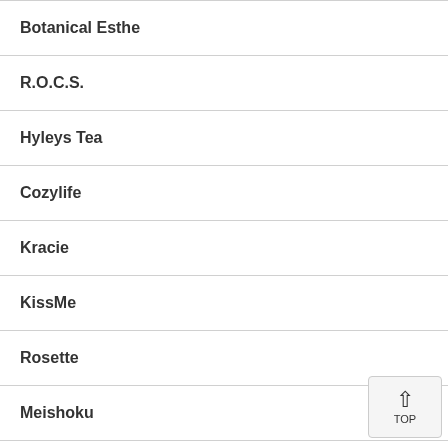Botanical Esthe
R.O.C.S.
Hyleys Tea
Cozylife
Kracie
KissMe
Rosette
Meishoku